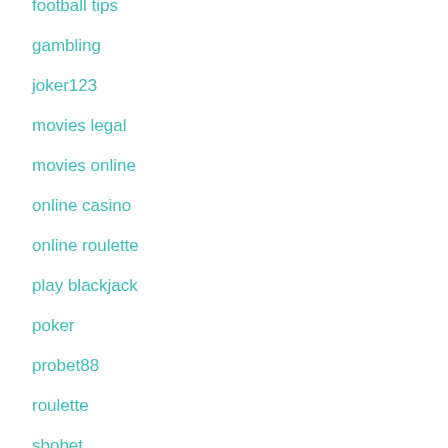football tips
gambling
joker123
movies legal
movies online
online casino
online roulette
play blackjack
poker
probet88
roulette
sbobet